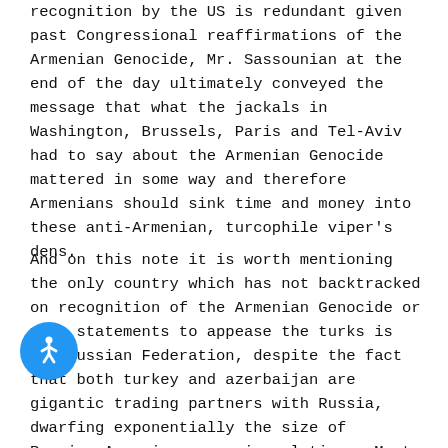recognition by the US is redundant given past Congressional reaffirmations of the Armenian Genocide, Mr. Sassounian at the end of the day ultimately conveyed the message that what the jackals in Washington, Brussels, Paris and Tel-Aviv had to say about the Armenian Genocide mattered in some way and therefore Armenians should sink time and money into these anti-Armenian, turcophile viper's dens.
And on this note it is worth mentioning the only country which has not backtracked on recognition of the Armenian Genocide or made statements to appease the turks is the Russian Federation, despite the fact that both turkey and azerbaijan are gigantic trading partners with Russia, dwarfing exponentially the size of Russian-Armenian economic relations. Most recently President Putin paid a very respectful visit to Dzidzernakaberd, t got very little attention in the English-language Had a war-criminal like Obama made a similar visit, even if he was clear it was only a "personal visit"
[Figure (illustration): Blue circular accessibility button with a white person/wheelchair icon, positioned at bottom left of page]